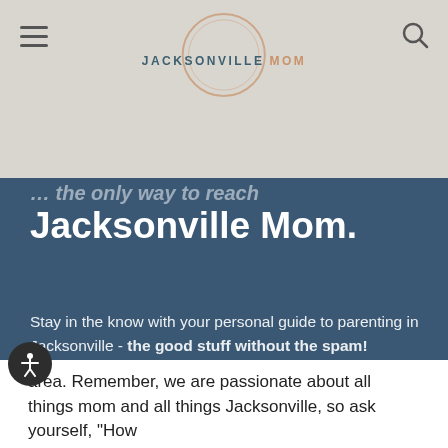Jacksonville Mom
Jacksonville Mom.
Stay in the know with your personal guide to parenting in Jacksonville - the good stuff without the spam!
Email address
Subscribe
area. Remember, we are passionate about all things mom and all things Jacksonville, so ask yourself, "How